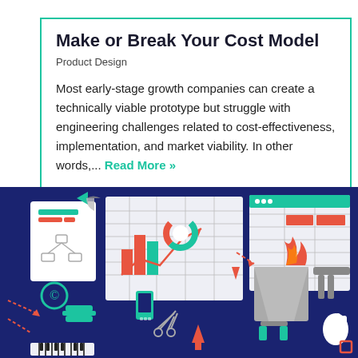Make or Break Your Cost Model
Product Design
Most early-stage growth companies can create a technically viable prototype but struggle with engineering challenges related to cost-effectiveness, implementation, and market viability. In other words,... Read More »
[Figure (illustration): Dark blue background illustration showing product design and engineering workflow elements: documents, charts, scissors, tools, spreadsheets, pie charts, fire, trash can, and other design/cost modeling icons in teal, orange-red, white, and gray colors.]